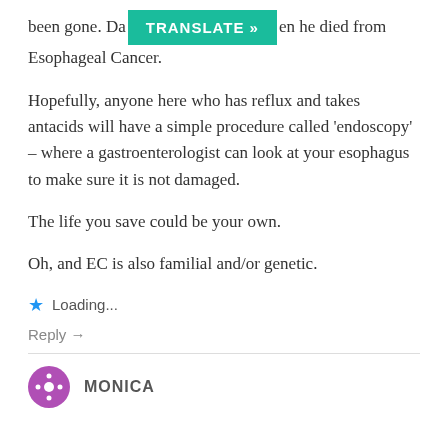been gone. Da[TRANSLATE »]en he died from Esophageal Cancer.
Hopefully, anyone here who has reflux and takes antacids will have a simple procedure called ‘endoscopy’ – where a gastroenterologist can look at your esophagus to make sure it is not damaged.
The life you save could be your own.
Oh, and EC is also familial and/or genetic.
★ Loading...
Reply →
MONICA